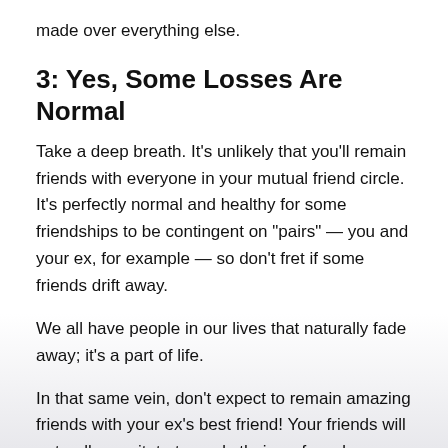made over everything else.
3: Yes, Some Losses Are Normal
Take a deep breath. It’s unlikely that you’ll remain friends with everyone in your mutual friend circle. It’s perfectly normal and healthy for some friendships to be contingent on “pairs” — you and your ex, for example — so don’t fret if some friends drift away.
We all have people in our lives that naturally fade away; it’s a part of life.
In that same vein, don’t expect to remain amazing friends with your ex’s best friend! Your friends will naturally gravitate towards their preferred relationships. Let it happen and enjoy the relationships that you keep.
4: Communication Is Key